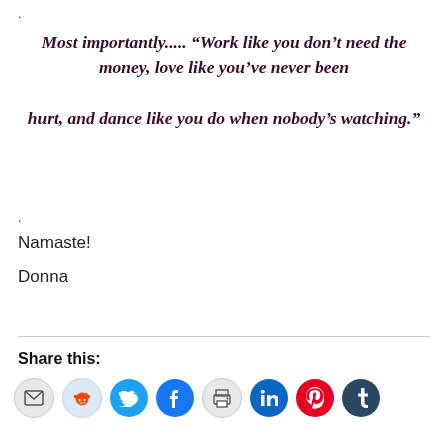.
Most importantly..... “Work like you don’t need the money, love like you’ve never been hurt, and dance like you do when nobody’s watching.”
.
Namaste!
Donna
Share this:
[Figure (infographic): Row of 8 social sharing icon buttons: email (envelope), Reddit, Twitter, Facebook, print, LinkedIn, Pinterest, Tumblr]